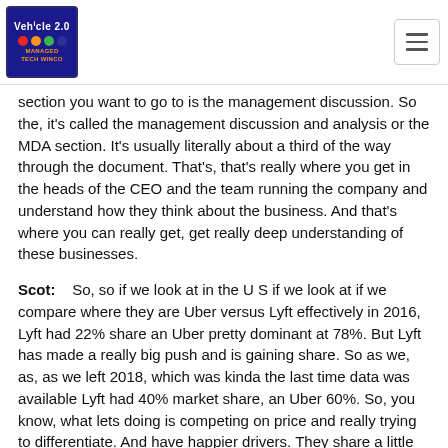Vehicle 2.0 [logo]
section you want to go to is the management discussion. So the, it's called the management discussion and analysis or the MDA section. It's usually literally about a third of the way through the document. That's, that's really where you get in the heads of the CEO and the team running the company and understand how they think about the business. And that's where you can really get, get really deep understanding of these businesses.
Scot: So, so if we look at in the U S if we look at if we compare where they are Uber versus Lyft effectively in 2016, Lyft had 22% share an Uber pretty dominant at 78%. But Lyft has made a really big push and is gaining share. So as we, as, as we left 2018, which was kinda the last time data was available Lyft had 40% market share, an Uber 60%. So, you know, what lets doing is competing on price and really trying to differentiate. And have happier drivers. They share a little bit more revenue with drivers. Lyft was the first out that let you tip the driver. So really kind of trying to have a different brand kind of model than Uber. Uber had some challenges with their previous CEO and some of the things he said did. And then